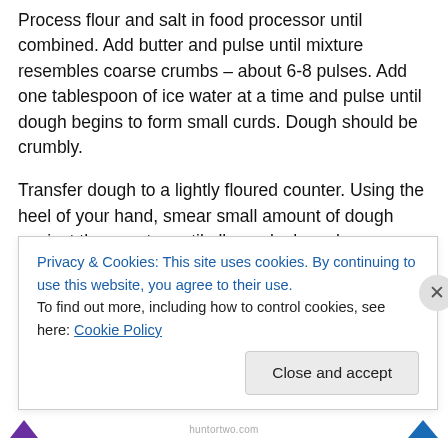Process flour and salt in food processor until combined. Add butter and pulse until mixture resembles coarse crumbs – about 6-8 pulses. Add one tablespoon of ice water at a time and pulse until dough begins to form small curds. Dough should be crumbly.
Transfer dough to a lightly floured counter. Using the heel of your hand, smear small amount of dough against the counter until all crumbs have been worked. Divide dough into four section and form each section into 3-inch disks. Wrap each disk tightly with plastic wrap and refrigerate for 1 hour. Let dough sit on counter top for 5-10 minutes
Privacy & Cookies: This site uses cookies. By continuing to use this website, you agree to their use.
To find out more, including how to control cookies, see here: Cookie Policy
Close and accept